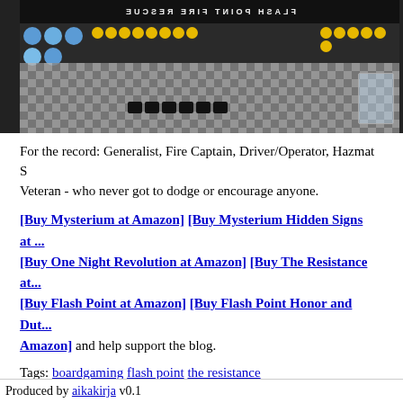[Figure (photo): Photo of a Flash Point board game set up on a checkered table, showing blue circular tokens, yellow coin tokens, black square pieces, and the game box in background]
For the record: Generalist, Fire Captain, Driver/Operator, Hazmat S... Veteran - who never got to dodge or encourage anyone.
[Buy Mysterium at Amazon] [Buy Mysterium Hidden Signs at ...] [Buy One Night Revolution at Amazon] [Buy The Resistance at...] [Buy Flash Point at Amazon] [Buy Flash Point Honor and Duty... Amazon] and help support the blog.
Tags: boardgaming flash point the resistance
Comments on this post are now closed. If you have particular grou... adding a late comment, comment on a more recent post quoting the... one.
Produced by aikakirja v0.1